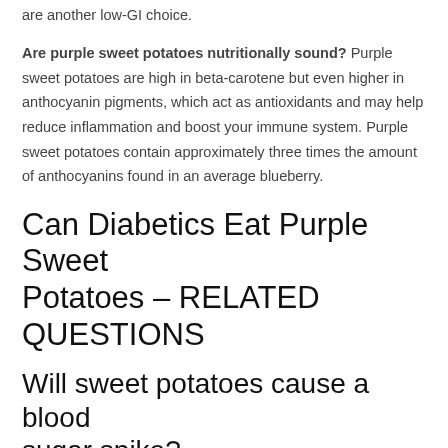are another low-GI choice.
Are purple sweet potatoes nutritionally sound? Purple sweet potatoes are high in beta-carotene but even higher in anthocyanin pigments, which act as antioxidants and may help reduce inflammation and boost your immune system. Purple sweet potatoes contain approximately three times the amount of anthocyanins found in an average blueberry.
Can Diabetics Eat Purple Sweet Potatoes – RELATED QUESTIONS
Will sweet potatoes cause a blood sugar spike?
Due to the high carbohydrate content of sweet potatoes, they might cause a surge in blood sugar levels. Their fiber content contributes to the slowing of this process. Orange sweet potatoes